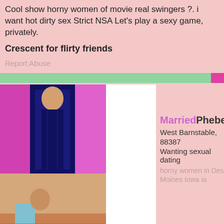Cool show horny women of movie real swingers ?. i want hot dirty sex Strict NSA Let's play a sexy game, privately.
Crescent for flirty friends
Report Abuse
[Figure (photo): Two photos of a woman. Top photo shows woman in dark top against pink background. Bottom photo shows woman in light blue top kneeling on patterned bedspread.]
MarriedPhebe
West Barnstable,
88387
Wanting sexual dating
horny women in Des Moines Iowa ia
Looking for women who want oral sex. I know you're out there...somewhere First, let me get it out of the way